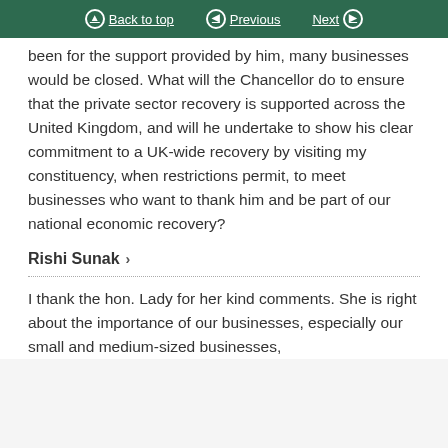Back to top | Previous | Next
been for the support provided by him, many businesses would be closed. What will the Chancellor do to ensure that the private sector recovery is supported across the United Kingdom, and will he undertake to show his clear commitment to a UK-wide recovery by visiting my constituency, when restrictions permit, to meet businesses who want to thank him and be part of our national economic recovery?
Rishi Sunak ›
I thank the hon. Lady for her kind comments. She is right about the importance of our businesses, especially our small and medium-sized businesses, including to his own recovery. We have provided...